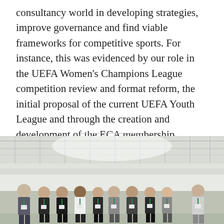consultancy world in developing strategies, improve governance and find viable frameworks for competitive sports. For instance, this was evidenced by our role in the UEFA Women's Champions League competition review and format reform, the initial proposal of the current UEFA Youth League and through the creation and development of the ECA membership relations covering 55 National Associations.
[Figure (photo): Group photo of approximately 10 young professionals wearing lanyards/badges, standing together inside a large football stadium with visible roof structure and empty seats in the background.]